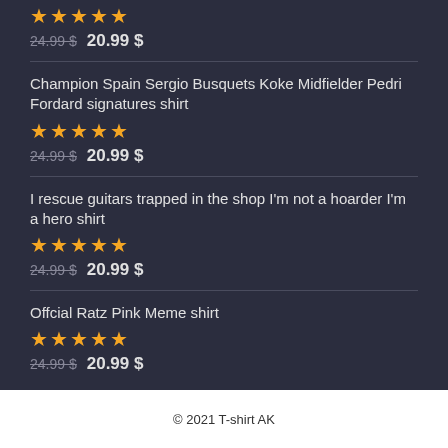24.99 $ 20.99 $
Champion Spain Sergio Busquets Koke Midfielder Pedri Fordard signatures shirt
24.99 $ 20.99 $
I rescue guitars trapped in the shop I'm not a hoarder I'm a hero shirt
24.99 $ 20.99 $
Offcial Ratz Pink Meme shirt
24.99 $ 20.99 $
© 2021 T-shirt AK